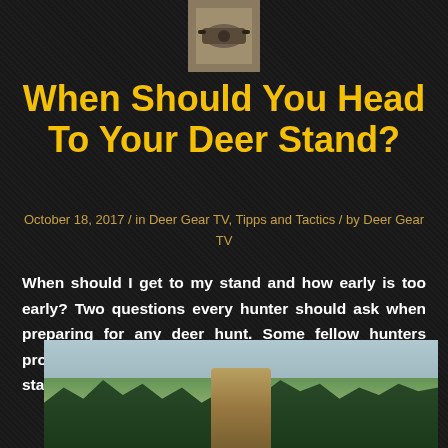[Figure (photo): ATV/UTV vehicle logo/header image at top center]
When Should You Head To Your Deer Stand?
October 18, 2017 / in Deer Gear TV, Tipps and Tactics / by Deer Gear TV
When should I get to my stand and how early is too early? Two questions every hunter should ask when preparing for any deer hunt. Some fellow hunters provide their take on when they like to head out to the stand.
[Figure (photo): Hunter in camouflage gear with backpack and rifle standing in an open field with trees in the background]